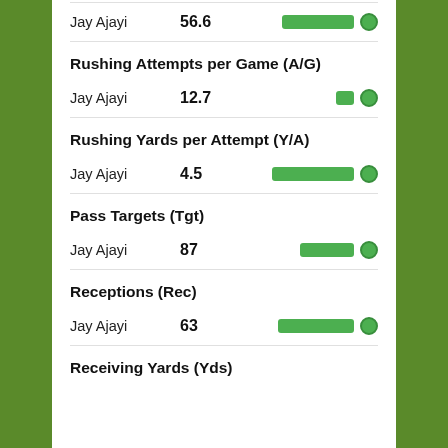Jay Ajayi  56.6
Rushing Attempts per Game (A/G)
Jay Ajayi  12.7
Rushing Yards per Attempt (Y/A)
Jay Ajayi  4.5
Pass Targets (Tgt)
Jay Ajayi  87
Receptions (Rec)
Jay Ajayi  63
Receiving Yards (Yds)